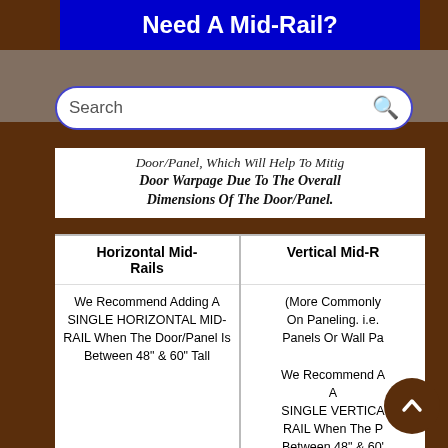Need A Mid-Rail?
[Figure (screenshot): Search bar with rounded border and magnifying glass icon]
Door/Panel, Which Will Help To Mitigate Door Warpage Due To The Overall Dimensions Of The Door/Panel.
| Horizontal Mid-Rails | Vertical Mid-R... |
| --- | --- |
| We Recommend Adding A SINGLE HORIZONTAL MID-RAIL When The Door/Panel Is Between 48" & 60" Tall | (More Commonly ... On Paneling. i.e. ... Panels Or Wall Pa... We Recommend A A SINGLE VERTICA... RAIL When The P... Between 48" & 60' |
| And A DOUBLE HORIZONTAL MID- | Between 48" & 60' |